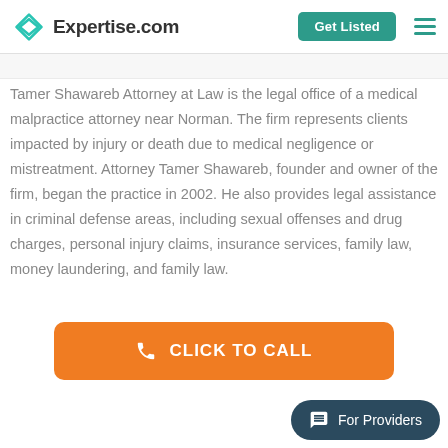Expertise.com
Tamer Shawareb Attorney at Law is the legal office of a medical malpractice attorney near Norman. The firm represents clients impacted by injury or death due to medical negligence or mistreatment. Attorney Tamer Shawareb, founder and owner of the firm, began the practice in 2002. He also provides legal assistance in criminal defense areas, including sexual offenses and drug charges, personal injury claims, insurance services, family law, money laundering, and family law.
CLICK TO CALL
For Providers